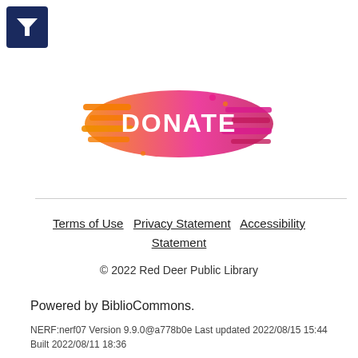[Figure (logo): Dark blue square button with a white funnel/filter icon]
[Figure (logo): DONATE button graphic with orange-to-pink gradient swoosh shapes and bold white DONATE text]
Terms of Use   Privacy Statement   Accessibility Statement
© 2022 Red Deer Public Library
Powered by BiblioCommons.
NERF:nerf07 Version 9.9.0@a778b0e Last updated 2022/08/15 15:44 Built 2022/08/11 18:36